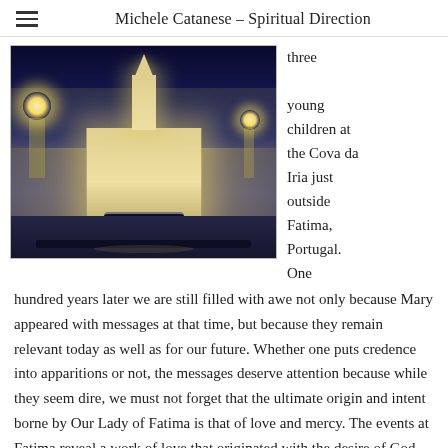Michele Catanese – Spiritual Direction
[Figure (photo): Night photograph of the Sanctuary of Our Lady of Fatima, Portugal, illuminated with golden light against a deep blue night sky. A large white basilica with a central tower is visible, with colonnades extending on both sides and a broad plaza in front.]
three young children at the Cova da Iria just outside Fatima, Portugal. One hundred years later we are still filled with awe not only because Mary appeared with messages at that time, but because they remain relevant today as well as for our future. Whether one puts credence into apparitions or not, the messages deserve attention because while they seem dire, we must not forget that the ultimate origin and intent borne by Our Lady of Fatima is that of love and mercy. The events at Fatima reveal a work of love that originated with the desire of God not to lose even one of His children to the effects of sin, the very reason Jesus died and rose. The Easter season is about the